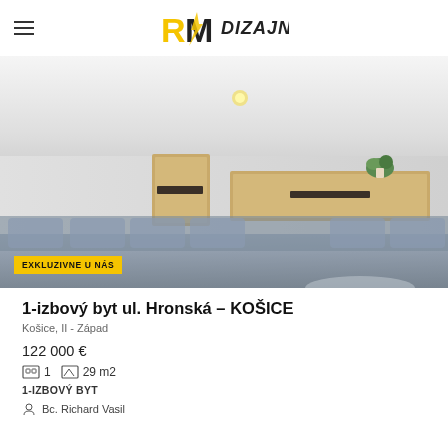RM DIZAJN
[Figure (photo): Interior photo of a modern apartment showing wooden floating shelves with a plant, white walls and ceiling with a recessed light, and a corner sofa with cushions in the foreground]
EXKLUZIVNE U NÁS
1-izbový byt ul. Hronská – KOŠICE
Košice, II - Západ
122 000 €
1   29 m2
1-IZBOVÝ BYT
Bc. Richard Vasil